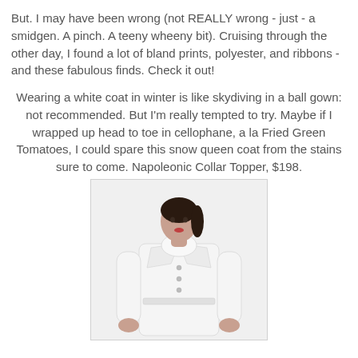But. I may have been wrong (not REALLY wrong - just - a smidgen. A pinch. A teeny wheeny bit). Cruising through the other day, I found a lot of bland prints, polyester, and ribbons - and these fabulous finds. Check it out!
Wearing a white coat in winter is like skydiving in a ball gown: not recommended. But I'm really tempted to try. Maybe if I wrapped up head to toe in cellophane, a la Fried Green Tomatoes, I could spare this snow queen coat from the stains sure to come. Napoleonic Collar Topper, $198.
[Figure (photo): A female model wearing a white double-breasted coat with a large collar, posed against a white background.]